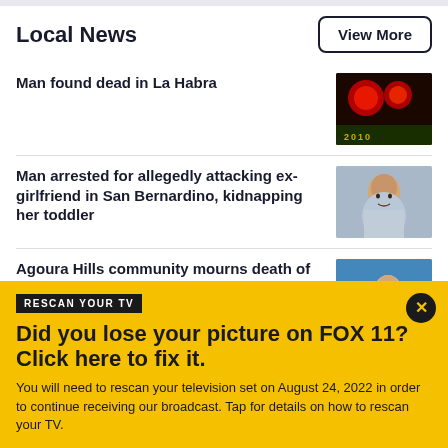Local News
View More
Man found dead in La Habra
[Figure (photo): Blurry red lights image]
Man arrested for allegedly attacking ex-girlfriend in San Bernardino, kidnapping her toddler
[Figure (photo): Mugshot of a man against light background]
Agoura Hills community mourns death of teen football player Carter Stone
[Figure (photo): Photo of teen football player]
RESCAN YOUR TV
Did you lose your picture on FOX 11? Click here to fix it.
You will need to rescan your television set on August 24, 2022 in order to continue receiving our broadcast. Tap for details on how to rescan your TV.